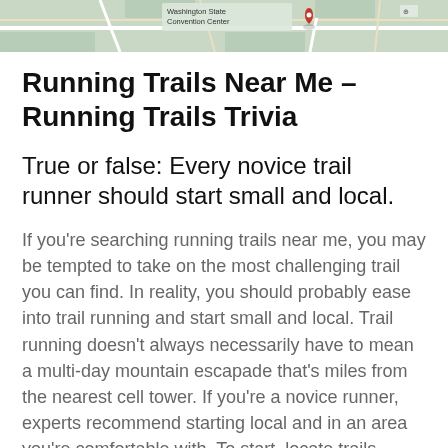[Figure (map): Partial Google Maps screenshot showing street map with location pin and a building label partially visible reading 'Washington State Convention Center']
Running Trails Near Me – Running Trails Trivia
True or false: Every novice trail runner should start small and local.
If you're searching running trails near me, you may be tempted to take on the most challenging trail you can find. In reality, you should probably ease into trail running and start small and local. Trail running doesn't always necessarily have to mean a multi-day mountain escapade that's miles from the nearest cell tower. If you're a novice runner, experts recommend starting local and in an area you're comfortable with. To start, locate trails